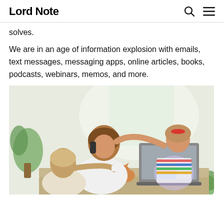Lord Note
solves.
We are in an age of information explosion with emails, text messages, messaging apps, online articles, books, podcasts, webinars, memos, and more.
[Figure (photo): A parent sitting at a desk talking on the phone while working on a laptop, with two children — a girl in a striped shirt reaching over the parent's head, and a younger boy reaching toward the desk. A small orange kitten is visible on the desk among books and papers. There are plants in the background near a bright window.]